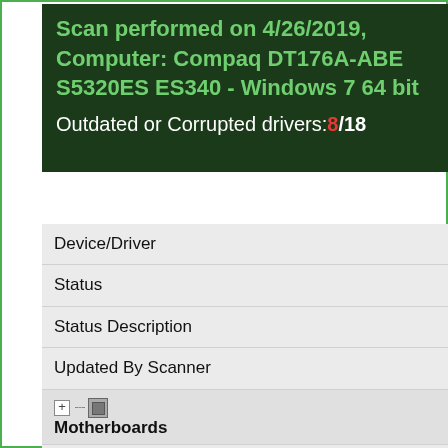Scan performed on 4/26/2019, Computer: Compaq DT176A-ABE S5320ES ES340 - Windows 7 64 bit
Outdated or Corrupted drivers: 8/18
| Device/Driver | Status | Status Description | Updated By Scanner |
| --- | --- | --- | --- |
| [Motherboards icon] Motherboards |  |  |  |
| Intel(R) 5 Series/3400 Series Chipset Family USB |  |  |  |
| Enhanced Host Controller - 3B34 |  |  |  |
| Up To Date and Functioning |  |  |  |
| [Mice icon] Mice And Touchpads |  |  |  |
| Microsoft HID-compliant muis |  |  |  |
| Up To Date and Functioning |  |  |  |
| [icon] |  |  |  |